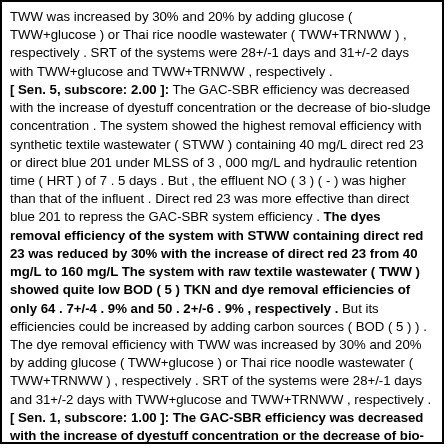TWW was increased by 30% and 20% by adding glucose ( TWW+glucose ) or Thai rice noodle wastewater ( TWW+TRNWW ) , respectively . SRT of the systems were 28+/-1 days and 31+/-2 days with TWW+glucose and TWW+TRNWW , respectively . [ Sen. 5, subscore: 2.00 ]: The GAC-SBR efficiency was decreased with the increase of dyestuff concentration or the decrease of bio-sludge concentration . The system showed the highest removal efficiency with synthetic textile wastewater ( STWW ) containing 40 mg/L direct red 23 or direct blue 201 under MLSS of 3 , 000 mg/L and hydraulic retention time ( HRT ) of 7 . 5 days . But , the effluent NO ( 3 ) ( - ) was higher than that of the influent . Direct red 23 was more effective than direct blue 201 to repress the GAC-SBR system efficiency . The dyes removal efficiency of the system with STWW containing direct red 23 was reduced by 30% with the increase of direct red 23 from 40 mg/L to 160 mg/L The system with raw textile wastewater ( TWW ) showed quite low BOD ( 5 ) TKN and dye removal efficiencies of only 64 . 7+/-4 . 9% and 50 . 2+/-6 . 9% , respectively . But its efficiencies could be increased by adding carbon sources ( BOD ( 5 ) ) . The dye removal efficiency with TWW was increased by 30% and 20% by adding glucose ( TWW+glucose ) or Thai rice noodle wastewater ( TWW+TRNWW ) , respectively . SRT of the systems were 28+/-1 days and 31+/-2 days with TWW+glucose and TWW+TRNWW , respectively . [ Sen. 1, subscore: 1.00 ]: The GAC-SBR efficiency was decreased with the increase of dyestuff concentration or the decrease of bio-sludge concentration . The system showed the highest removal efficiency with synthetic textile wastewater ( STWW ) containing 40 mg/L direct red 23 or direct blue 201 under MLSS of 3 , 000 mg/L and hydraulic retention time ( HRT ) of 7 . 5 days . But , the effluent NO ( 3 ) ( - ) was higher than that of the influent . Direct red 23 was more effective than direct blue 201 to repress the GAC-SBR system efficiency . The